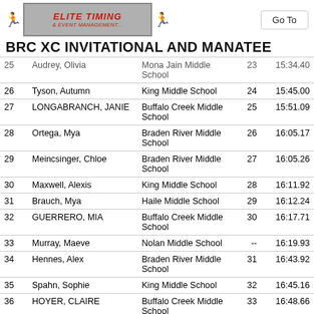Elite Timing & Event Management — Go To
BRC XC INVITATIONAL AND MANATEE
| Place | Name | School | Score | Time |
| --- | --- | --- | --- | --- |
| 25 | Audrey, Olivia | Mona Jain Middle School | 23 | 15:34.40 |
| 26 | Tyson, Autumn | King Middle School | 24 | 15:45.00 |
| 27 | LONGABRANCH, JANIE | Buffalo Creek Middle School | 25 | 15:51.09 |
| 28 | Ortega, Mya | Braden River Middle School | 26 | 16:05.17 |
| 29 | Meincsinger, Chloe | Braden River Middle School | 27 | 16:05.26 |
| 30 | Maxwell, Alexis | King Middle School | 28 | 16:11.92 |
| 31 | Brauch, Mya | Haile Middle School | 29 | 16:12.24 |
| 32 | GUERRERO, MIA | Buffalo Creek Middle School | 30 | 16:17.71 |
| 33 | Murray, Maeve | Nolan Middle School | -- | 16:19.93 |
| 34 | Hennes, Alex | Braden River Middle School | 31 | 16:43.92 |
| 35 | Spahn, Sophie | King Middle School | 32 | 16:45.16 |
| 36 | HOYER, CLAIRE | Buffalo Creek Middle School | 33 | 16:48.66 |
| 37 | Augustine, Emily | Mona Jain Middle School | 34 | 16:49.38 |
| 38 | Morrell, Danakah | Palm View Middle School | -- | 16:58.82 |
| 39 | REYNOLDS, LEIANA | Buffalo Creek Middle | 35 | 17:05.07 |